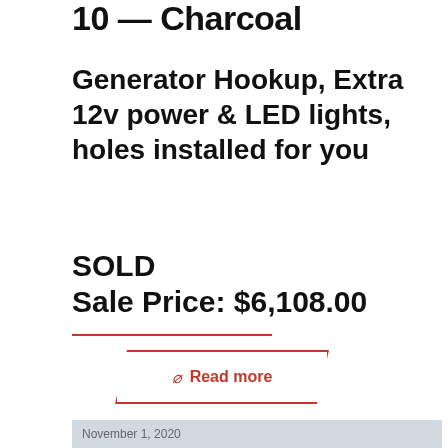10 — Charcoal
Generator Hookup, Extra 12v power & LED lights, holes installed for you
SOLD
Sale Price: $6,108.00
Read more
[Figure (photo): Exterior photo of a dark-colored portable ice fishing shelter/cabin with arched roof, white trim window and door, parked on a gravel area with trees in background. Date overlay reads November 1, 2020.]